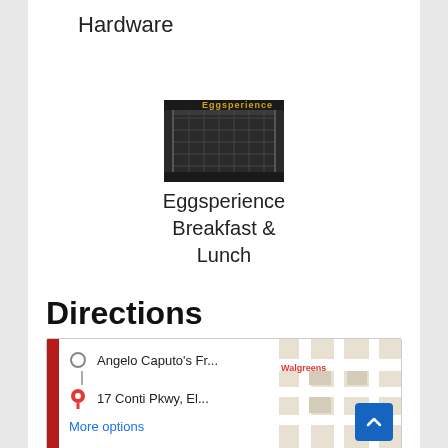Hardware
[Figure (photo): Storefront photo of Eggsperience restaurant with dark metal gate/grill and yellow signage]
Eggsperience Breakfast & Lunch
Directions
[Figure (map): Google Maps widget showing directions from Angelo Caputo's Fr... to 17 Conti Pkwy, El... with a map thumbnail showing Walgreens and street grid]